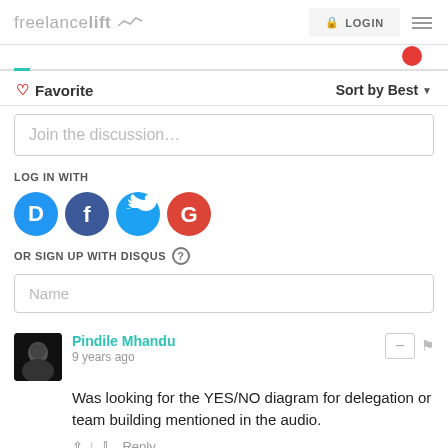freelancelift | LOGIN
Favorite   Sort by Best
Join the discussion...
LOG IN WITH
[Figure (other): Social login icons: Disqus (D), Facebook (f), Twitter (bird), Google (G)]
OR SIGN UP WITH DISQUS ?
Name
Pindile Mhandu
9 years ago
Was looking for the YES/NO diagram for delegation or team building mentioned in the audio.
Reply